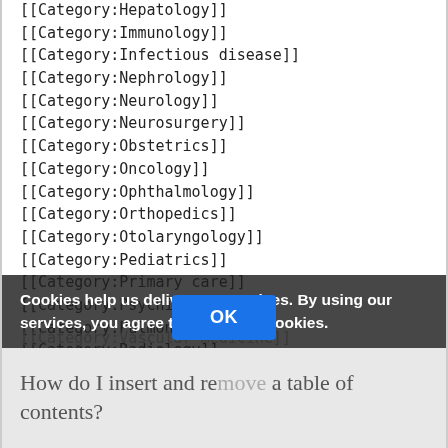[[Category:Hepatology]]
[[Category:Immunology]]
[[Category:Infectious disease]]
[[Category:Nephrology]]
[[Category:Neurology]]
[[Category:Neurosurgery]]
[[Category:Obstetrics]]
[[Category:Oncology]]
[[Category:Ophthalmology]]
[[Category:Orthopedics]]
[[Category:Otolaryngology]]
[[Category:Pediatrics]]
[[Category:Primary care]]
[[Category:Psychiatry]]
[[Category:Pulmonology]]
[[Category:Radiology]]
[[Category:Rheumatology]]
[[Category:Surgery]]
[[Category:Urology]]
[[Category:Vascular medicine]]
Cookies help us deliver our services. By using our services, you agree to our use of cookies.
How do I insert and remove a table of contents?